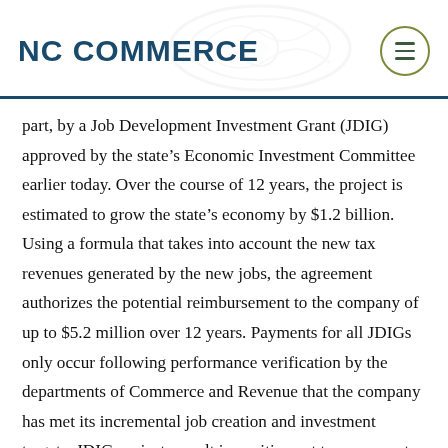NC COMMERCE
part, by a Job Development Investment Grant (JDIG) approved by the state’s Economic Investment Committee earlier today. Over the course of 12 years, the project is estimated to grow the state’s economy by $1.2 billion. Using a formula that takes into account the new tax revenues generated by the new jobs, the agreement authorizes the potential reimbursement to the company of up to $5.2 million over 12 years. Payments for all JDIGs only occur following performance verification by the departments of Commerce and Revenue that the company has met its incremental job creation and investment targets. JDIG projects result in positive net tax revenue to